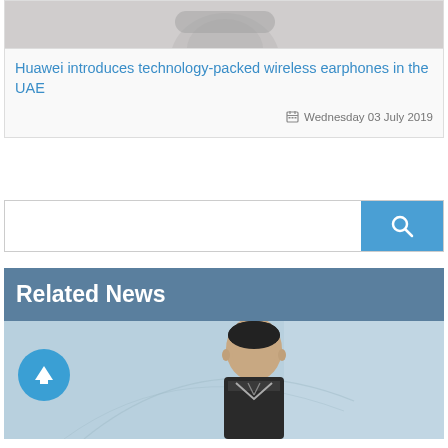[Figure (photo): Top portion of wireless earphones product image on grey background]
Huawei introduces technology-packed wireless earphones in the UAE
Wednesday 03 July 2019
[Figure (screenshot): Search bar with blue search button containing magnifying glass icon]
Related News
[Figure (photo): Asian man in suit and glasses at a press event, with back-to-top circular button overlay]